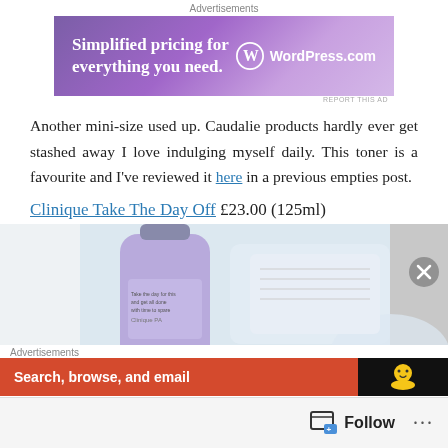Advertisements
[Figure (screenshot): WordPress.com advertisement banner with purple gradient background. Text: 'Simplified pricing for everything you need.' with WordPress.com logo on the right.]
REPORT THIS AD
Another mini-size used up. Caudalie products hardly ever get stashed away I love indulging myself daily. This toner is a favourite and I've reviewed it here in a previous empties post.
Clinique Take The Day Off £23.00 (125ml)
[Figure (photo): Photo of a purple/blue Clinique Take The Day Off bottle on a light background with other bathroom products partially visible.]
Advertisements
[Figure (screenshot): Advertisement banner with orange-red background on left reading 'Search, browse, and email' and dark section on right with duck icon.]
[Figure (other): Follow bar at bottom with follow icon button and three dots menu.]